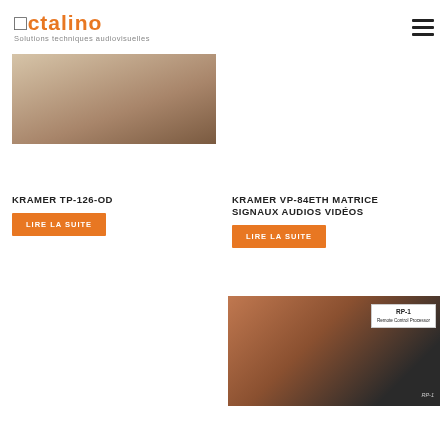[Figure (logo): Octalino logo with text 'Solutions techniques audiovisuelles']
[Figure (photo): Partial photo of Kramer TP-126-OD product, brown/beige tones, top-cropped]
KRAMER TP-126-OD
LIRE LA SUITE
KRAMER VP-84ETH MATRICE SIGNAUX AUDIOS VIDÉOS
LIRE LA SUITE
[Figure (photo): Photo of RP-1 remote control processor product in an open box, with manual showing 'RP-1' text]